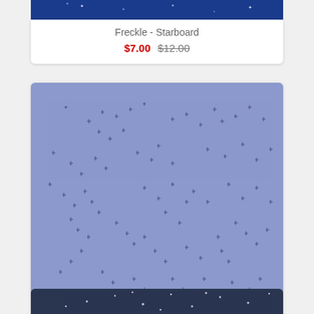[Figure (photo): Top portion of a fabric product card showing a dark blue starfield pattern (Freckle - Starboard). Only the bottom strip of the image is visible at the top of the page.]
Freckle - Starboard
$7.00 $12.00
[Figure (photo): Fabric swatch showing small dark star/cross shapes scattered on a medium periwinkle/slate-blue background. Pattern is called Freckles - Enchanted.]
Freckles - Enchanted
$13.00
[Figure (photo): Bottom portion of a third product card showing a dark navy blue starfield fabric pattern, partially visible at the bottom of the page.]